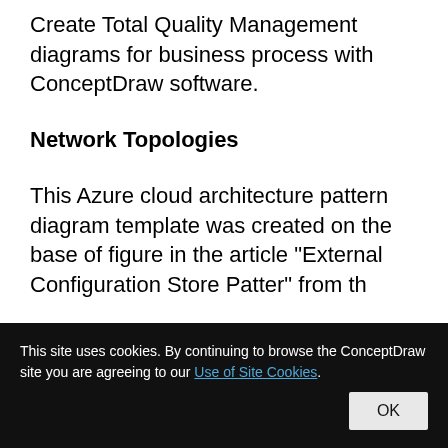Create Total Quality Management diagrams for business process with ConceptDraw software.
Network Topologies
This Azure cloud architecture pattern diagram template was created on the base of figure in the article "External Configuration Store Pattern" from th...
This site uses cookies. By continuing to browse the ConceptDraw site you are agreeing to our Use of Site Cookies.